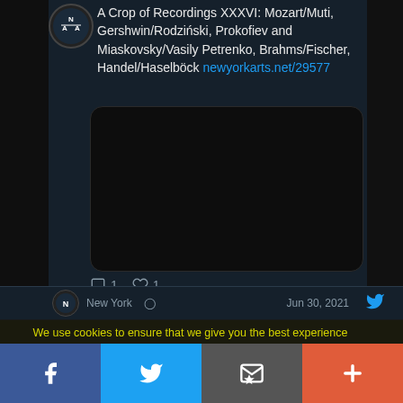[Figure (screenshot): Twitter/X post screenshot showing tweet about 'A Crop of Recordings XXXVI: Mozart/Muti, Gershwin/Rodziński, Prokofiev and Miaskovsky/Vasily Petrenko, Brahms/Fischer, Handel/Haselböck' with link newyorkarts.net/29577, a black embedded media box, and reply/like counts (1 each). Below it the start of another tweet is visible.]
We use cookies to ensure that we give you the best experience on our website. If you continue to use this site we will assume that you are happy with it.
[Figure (infographic): Social sharing bar at bottom with four buttons: Facebook (blue, f icon), Twitter (blue, bird icon), Email (grey, envelope icon), More (orange-red, plus icon)]